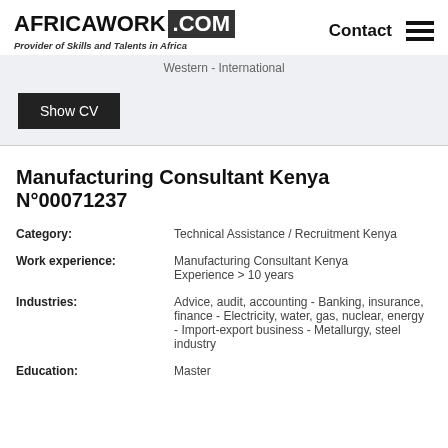AFRICAWORK .COM — Provider of Skills and Talents in Africa — Contact
Western - International
Show CV
Manufacturing Consultant Kenya N°00071237
| Field | Value |
| --- | --- |
| Category: | Technical Assistance / Recruitment Kenya |
| Work experience: | Manufacturing Consultant Kenya Experience > 10 years |
| Industries: | Advice, audit, accounting - Banking, insurance, finance - Electricity, water, gas, nuclear, energy - Import-export business - Metallurgy, steel industry |
| Education: | Master |